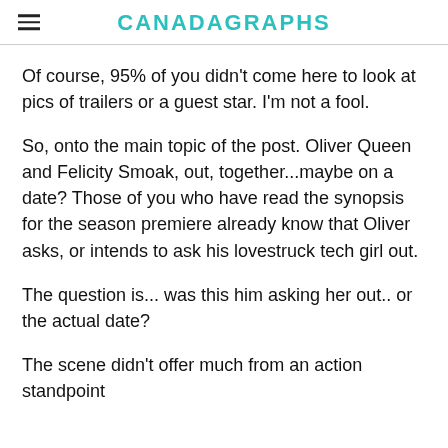CANADAGRAPHS
Of course, 95% of you didn't come here to look at pics of trailers or a guest star. I'm not a fool.
So, onto the main topic of the post. Oliver Queen and Felicity Smoak, out, together...maybe on a date? Those of you who have read the synopsis for the season premiere already know that Oliver asks, or intends to ask his lovestruck tech girl out.
The question is... was this him asking her out.. or the actual date?
The scene didn't offer much from an action standpoint